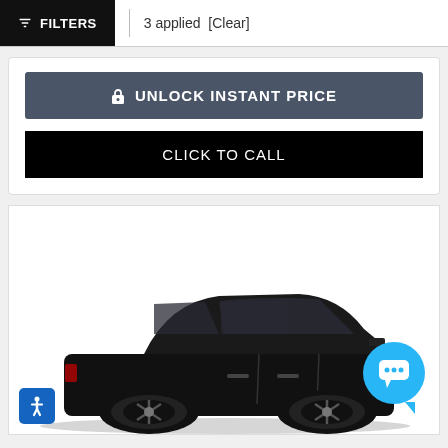FILTERS | 3 applied [Clear]
UNLOCK INSTANT PRICE
CLICK TO CALL
[Figure (photo): Black luxury sedan (appears to be a Mercedes-Benz C-class or similar) photographed from a front three-quarter angle on a gray surface. A blue circular chat bubble icon overlays the lower right of the image. A blue accessibility button is in the lower left.]